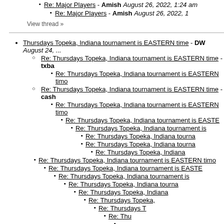Re: Major Players - Amish August 26, 2022, 1:24 am
Re: Major Players - Amish August 26, 2022, 1...
View thread »
Thursdays Topeka, Indiana tournament is EASTERN time - DW August 24, ...
Re: Thursdays Topeka, Indiana tournament is EASTERN time - txba...
Re: Thursdays Topeka, Indiana tournament is EASTERN timo...
Re: Thursdays Topeka, Indiana tournament is EASTERN time - cash...
Re: Thursdays Topeka, Indiana tournament is EASTERN timo...
Re: Thursdays Topeka, Indiana tournament is EASTE...
Re: Thursdays Topeka, Indiana tournament is ...
Re: Thursdays Topeka, Indiana tourna...
Re: Thursdays Topeka, Indiana tourna...
Re: Thursdays Topeka, Indiana...
Re: Thursdays Topeka, Indiana tournament is EASTERN timo...
Re: Thursdays Topeka, Indiana tournament is EASTE...
Re: Thursdays Topeka, Indiana tournament is ...
Re: Thursdays Topeka, Indiana tourna...
Re: Thursdays Topeka, Indiana...
Re: Thursdays Topeka,...
Re: Thursdays T...
Re: Thu...
...
View thread »